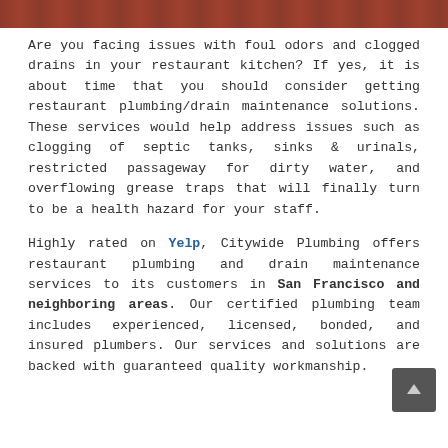[Figure (photo): Top image strip showing a restaurant kitchen scene with reddish-brown tones]
Are you facing issues with foul odors and clogged drains in your restaurant kitchen? If yes, it is about time that you should consider getting restaurant plumbing/drain maintenance solutions. These services would help address issues such as clogging of septic tanks, sinks & urinals, restricted passageway for dirty water, and overflowing grease traps that will finally turn to be a health hazard for your staff.
Highly rated on Yelp, Citywide Plumbing offers restaurant plumbing and drain maintenance services to its customers in San Francisco and neighboring areas. Our certified plumbing team includes experienced, licensed, bonded, and insured plumbers. Our services and solutions are backed with guaranteed quality workmanship.